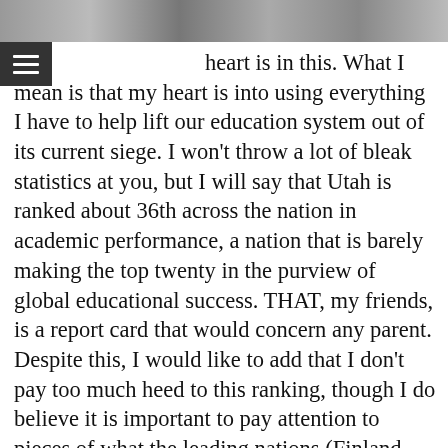[Figure (photo): Photo strip at top of page showing people]
heart is in this. What I mean is that my heart is into using everything I have to help lift our education system out of its current siege. I won't throw a lot of bleak statistics at you, but I will say that Utah is ranked about 36th across the nation in academic performance, a nation that is barely making the top twenty in the purview of global educational success. THAT, my friends, is a report card that would concern any parent. Despite this, I would like to add that I don't pay too much heed to this ranking, though I do believe it is important to pay attention to pieces of what the leading nations (Finland, South Korea, Singapore, and Japan) are successfully doing; there are certainly some educational nuggets we can glean from them. But is it productive to make, for example, the Finnish education system the pie in the sky—and then hold our teachers and administrators accountable for not attaining the